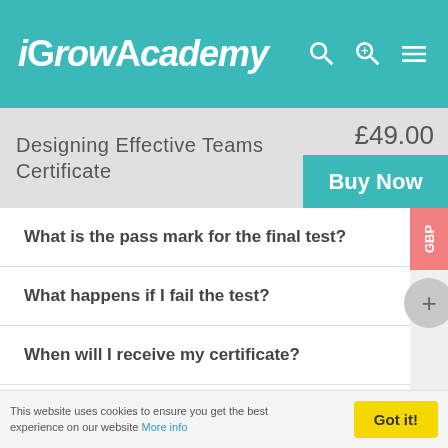iGrowAcademy
Designing Effective Teams Certificate
£49.00
Buy Now
What is the pass mark for the final test?
What happens if I fail the test?
When will I receive my certificate?
How can I pay?
How long after payment can I begin the course?
This website uses cookies to ensure you get the best experience on our website More info   Got it!